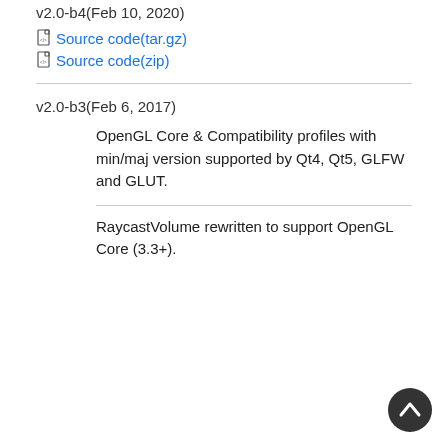v2.0-b4(Feb 10, 2020)
Source code(tar.gz)
Source code(zip)
v2.0-b3(Feb 6, 2017)
OpenGL Core & Compatibility profiles with min/maj version supported by Qt4, Qt5, GLFW and GLUT.
RaycastVolume rewritten to support OpenGL Core (3.3+).